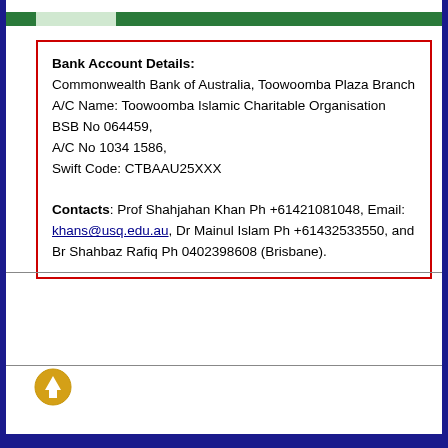Bank Account Details: Commonwealth Bank of Australia, Toowoomba Plaza Branch A/C Name: Toowoomba Islamic Charitable Organisation BSB No 064459, A/C No 1034 1586, Swift Code: CTBAAU25XXX Contacts: Prof Shahjahan Khan Ph +61421081048, Email: khans@usq.edu.au, Dr Mainul Islam Ph +61432533550, and Br Shahbaz Rafiq Ph 0402398608 (Brisbane).